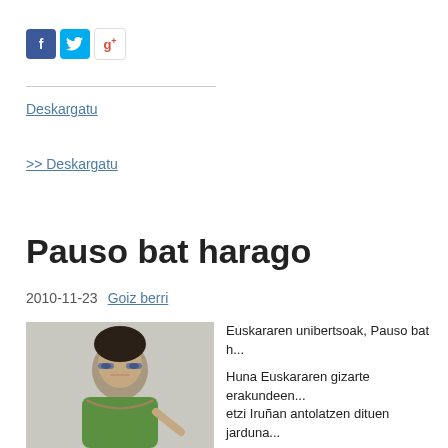[Figure (logo): Social media icons: Facebook (blue), Twitter (light blue), Google+ (colorful)]
Deskargatu
>> Deskargatu
Pauso bat harago
2010-11-23   Goiz berri
[Figure (photo): Man with glasses wearing a green cardigan, speaking or gesturing with his hand]
Euskararen unibertsoak, Pauso bat h...
Huna Euskararen gizarte erakundeen... etzi Iruñan antolatzen dituen jarduna...
Euskararen normalizazioa eta euskal... aztergai izanen dira.